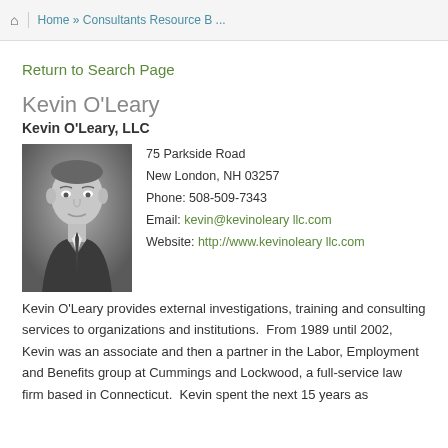Home » Consultants Resource B ...
Return to Search Page
Kevin O'Leary
Kevin O'Leary, LLC
[Figure (photo): Black and white professional headshot of Kevin O'Leary, a middle-aged man in a suit and tie]
75 Parkside Road
New London, NH 03257
Phone: 508-509-7343
Email: kevin@kevinoleary llc.com
Website: http://www.kevinoleary llc.com
Kevin O'Leary provides external investigations, training and consulting services to organizations and institutions.  From 1989 until 2002, Kevin was an associate and then a partner in the Labor, Employment and Benefits group at Cummings and Lockwood, a full-service law firm based in Connecticut.  Kevin spent the next 15 years as